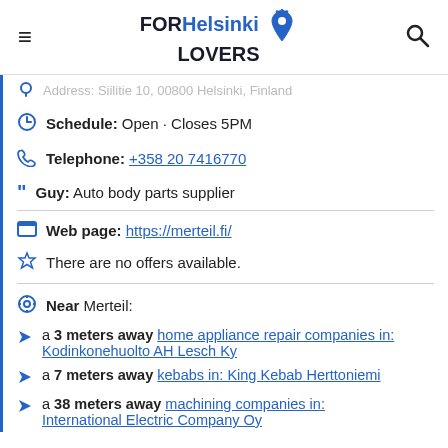FOR Helsinki LOVERS
Address: Siilitie 10, 00800 Helsinki, Finland
Schedule: Open · Closes 5PM
Telephone: +358 20 7416770
Guy: Auto body parts supplier
Web page: https://merteil.fi/
There are no offers available.
Near Merteil:
a 3 meters away home appliance repair companies in: Kodinkonehuolto AH Lesch Ky
a 7 meters away kebabs in: King Kebab Herttoniemi
a 38 meters away machining companies in: International Electric Company Oy